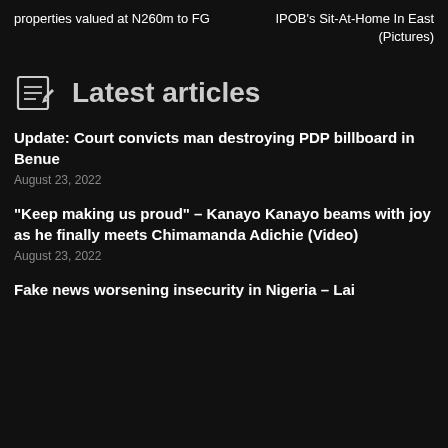properties valued at N260m to FG
IPOB's Sit-At-Home In East (Pictures)
Latest articles
Update: Court convicts man destroying PDP billboard in Benue
August 23, 2022
“Keep making us proud” – Kanayo Kanayo beams with joy as he finally meets Chimamanda Adichie (Video)
August 23, 2022
Fake news worsening insecurity in Nigeria – Lai